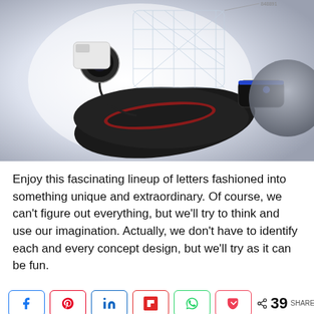[Figure (photo): A futuristic concept device photograph showing a dark ergonomic gaming/tech device with a wireframe mesh structure on top, camera lens attachments, a small controller with blue LED light on top, and a dark spherical object on the right side. Background is bright white/light blue gradient.]
Enjoy this fascinating lineup of letters fashioned into something unique and extraordinary. Of course, we can't figure out everything, but we'll try to think and use our imagination. Actually, we don't have to identify each and every concept design, but we'll try as it can be fun.
[Figure (infographic): Social share bar with buttons for Facebook, Pinterest, LinkedIn, Flipboard, WhatsApp, Pocket, and a share count showing 39 SHARES.]